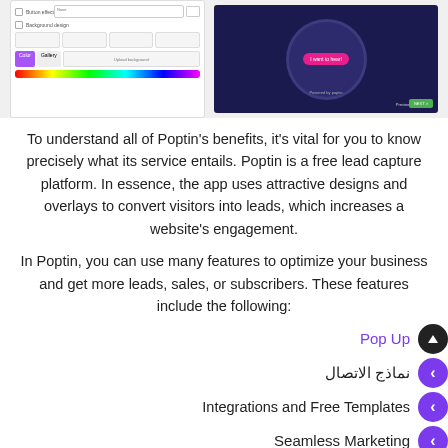[Figure (screenshot): Screenshot of Poptin interface showing design controls on the left and a dark popup preview on the right with a pink button.]
To understand all of Poptin's benefits, it's vital for you to know precisely what its service entails. Poptin is a free lead capture platform. In essence, the app uses attractive designs and overlays to convert visitors into leads, which increases a website's engagement.
In Poptin, you can use many features to optimize your business and get more leads, sales, or subscribers. These features include the following:
Pop Up
نماذج الاتصال
Integrations and Free Templates
Seamless Marketing